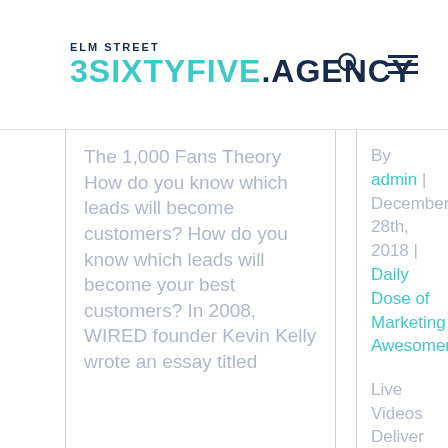ELM STREET 3SIXTYFIVE.AGENCY
The 1,000 Fans Theory How do you know which leads will become customers? How do you know which leads will become your best customers? In 2008, WIRED founder Kevin Kelly wrote an essay titled
By admin | December 28th, 2018 | Daily Dose of Marketing Awesomeness

Live Videos Deliver Results Live Facebook videos get six times more interactions than regular Facebook videos and have received more